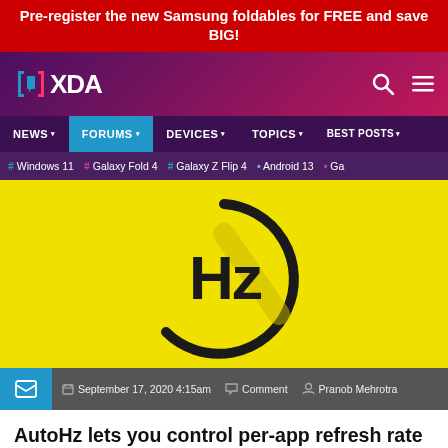Pre-register the new Samsung foldables for FREE and save BIG!
[Figure (logo): XDA Developers logo on purple-pink gradient header with search and menu icons]
NEWS  FORUMS  DEVICES  TOPICS  BEST POSTS
# Windows 11  # Galaxy Fold 4  # Galaxy Z Flip 4  • Android 13  • Ga
[Figure (illustration): Yellow background with Hz circular logo symbol in dark outline]
September 17, 2020 4:15am  Comment  Pranob Mehrotra
AutoHz lets you control per-app refresh rate on OnePlus phones, including the OnePlus Nord